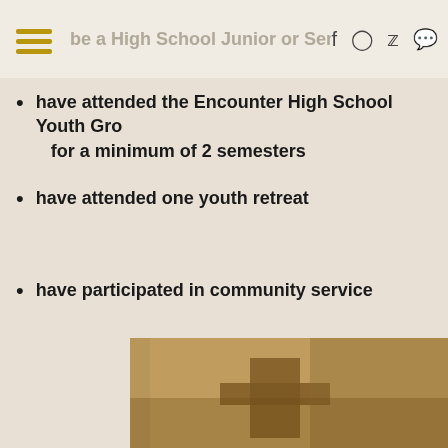be a High School Junior or Senior
have attended the Encounter High School Youth Group for a minimum of 2 semesters
have attended one youth retreat
have participated in community service
**If you have any questions regarding Confirmation and please email Heather Abraham, habraham@stmary-wc.org.
[Figure (photo): Partial photo of a cross or religious imagery in warm brown tones, partially cropped at bottom of page]